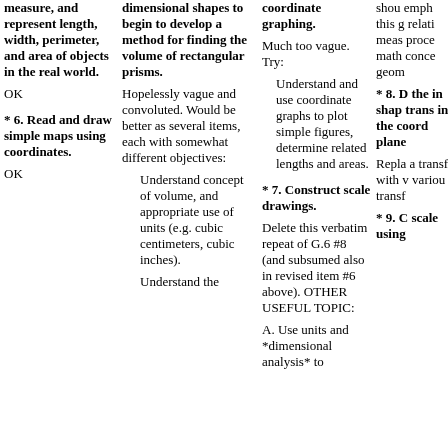measure, and represent length, width, perimeter, and area of objects in the real world.
OK
* 6. Read and draw simple maps using coordinates.
OK
dimensional shapes to begin to develop a method for finding the volume of rectangular prisms.
Hopelessly vague and convoluted. Would be better as several items, each with somewhat different objectives:
Understand concept of volume, and appropriate use of units (e.g. cubic centimeters, cubic inches).
Understand the
coordinate graphing.
Much too vague. Try:
Understand and use coordinate graphs to plot simple figures, determine related lengths and areas.
* 7. Construct scale drawings.
Delete this verbatim repeat of G.6 #8 (and subsumed also in revised item #6 above). OTHER USEFUL TOPIC:
A. Use units and *dimensional analysis* to
should emph this g relati measu proce mathe conce geom
* 8. D the in shape trans in the coord plane
Repla a transf with v variou transf
* 9. C scale using